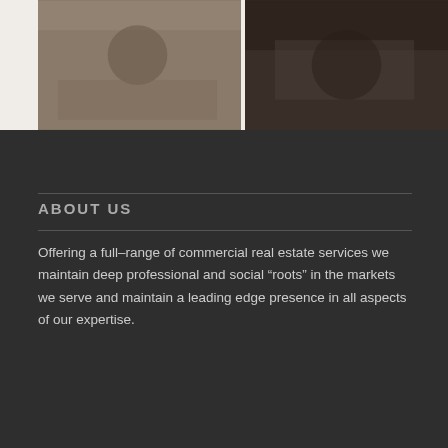[Figure (photo): Left photo, partially visible at top of page, brownish tones]
[Figure (photo): Right photo, partially visible at top of page, dark brown tones]
ABOUT US
Offering a full–range of commercial real estate services we maintain deep professional and social “roots” in the markets we serve and maintain a leading edge presence in all aspects of our expertise.